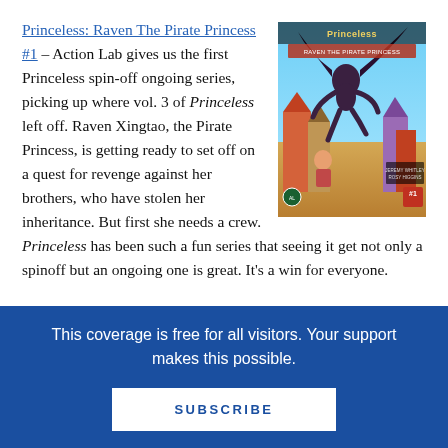Princeless: Raven The Pirate Princess #1 – Action Lab gives us the first Princeless spin-off ongoing series, picking up where vol. 3 of Princeless left off. Raven Xingtao, the Pirate Princess, is getting ready to set off on a quest for revenge against her brothers, who have stolen her inheritance. But first she needs a crew. Princeless has been such a fun series that seeing it get not only a spinoff but an ongoing one is great. It's a win for everyone.
[Figure (illustration): Comic book cover of Princeless: Raven The Pirate Princess #1, showing a character in dark clothing leaping through the air above a fantasy scene with colorful buildings]
This coverage is free for all visitors. Your support makes this possible.
SUBSCRIBE